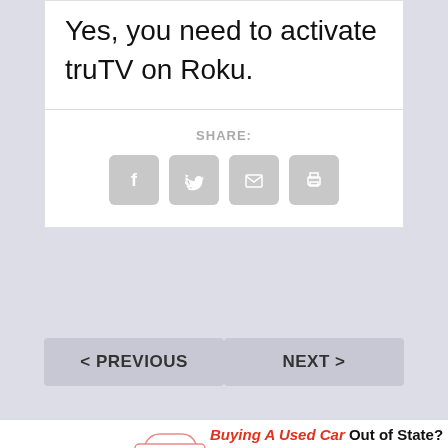Yes, you need to activate truTV on Roku.
SHARE:
[Figure (other): Social share icons: Facebook, Twitter, Email, Print]
< PREVIOUS
NEXT >
[Figure (infographic): Bumper advertisement: Buying A Used Car Out of State? Research the car's history report. VIN Number input with Search VIN button.]